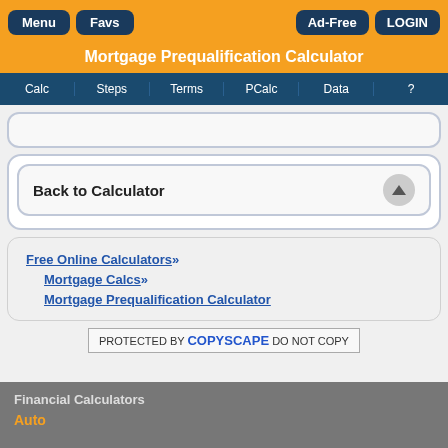Menu  Favs  Ad-Free  LOGIN
Mortgage Prequalification Calculator
Calc  Steps  Terms  PCalc  Data  ?
Back to Calculator
Free Online Calculators» Mortgage Calcs» Mortgage Prequalification Calculator
PROTECTED BY COPYSCAPE DO NOT COPY
Financial Calculators
Auto